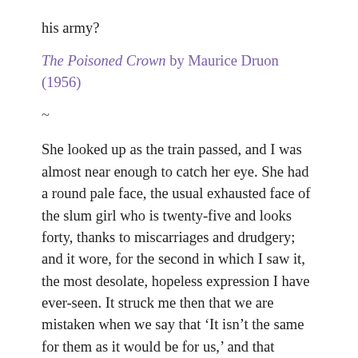his army?
The Poisoned Crown by Maurice Druon (1956)
~
She looked up as the train passed, and I was almost near enough to catch her eye. She had a round pale face, the usual exhausted face of the slum girl who is twenty-five and looks forty, thanks to miscarriages and drudgery; and it wore, for the second in which I saw it, the most desolate, hopeless expression I have ever-seen. It struck me then that we are mistaken when we say that ‘It isn’t the same for them as it would be for us,’ and that people bred in the slums can imagine nothing but the slums. For what I saw in her face was not the ignorant suffering of an animal. She knew well enough what was happening to her — understood